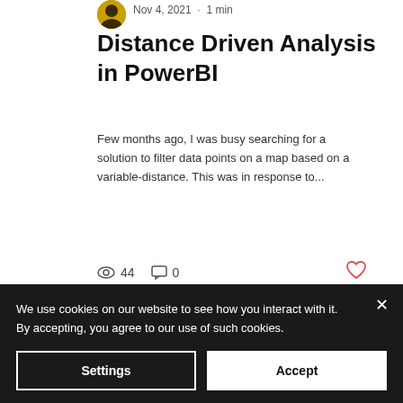Nov 4, 2021 · 1 min
Distance Driven Analysis in PowerBI
Few months ago, I was busy searching for a solution to filter data points on a map based on a variable-distance. This was in response to...
44  0
Gamuchirai B Perekwa  Oct 25, 2021 · 1 min
We use cookies on our website to see how you interact with it. By accepting, you agree to our use of such cookies.
Settings  Accept